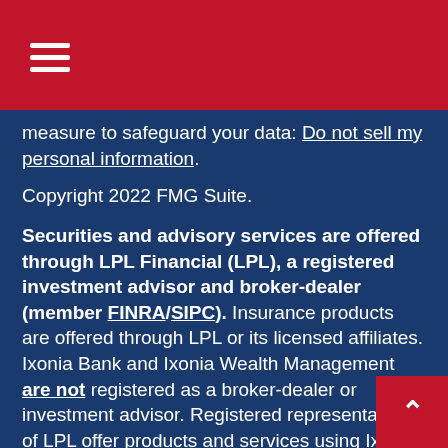Navigation menu (hamburger icon)
measure to safeguard your data: Do not sell my personal information.
Copyright 2022 FMG Suite.
Securities and advisory services are offered through LPL Financial (LPL), a registered investment advisor and broker-dealer (member FINRA/SIPC).  Insurance products are offered through LPL or its licensed affiliates. Ixonia Bank and Ixonia Wealth Management are not registered as a broker-dealer or investment advisor. Registered representatives of LPL offer products and services using Ixonia Wealth Management, and may also be employees of Ixonia Bank.  These products and services are being offered through LPL or its affiliates, which are separate entit from, and not affiliates of, Ixonia Bank or Ixonia Wealth